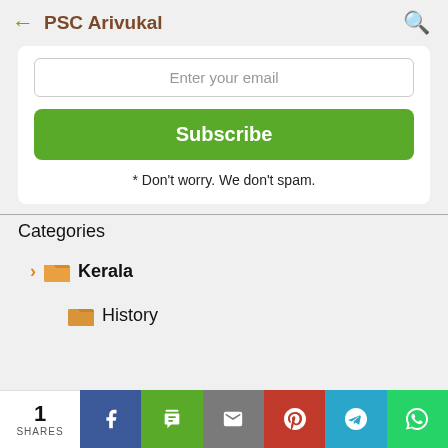PSC Arivukal
Enter your email
Subscribe
* Don't worry. We don't spam.
Categories
Kerala
History
1 SHARES